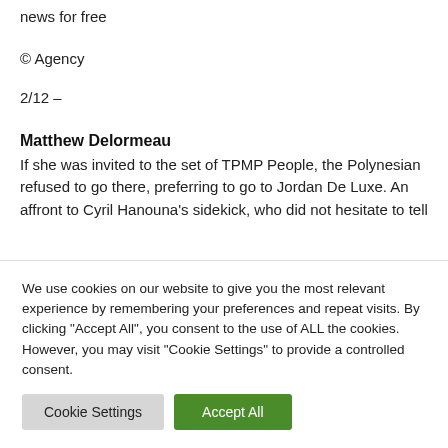Subscribe to the GlobalMagazin newsletter to receive the latest news for free
© Agency
2/12 –
Matthew Delormeau
If she was invited to the set of TPMP People, the Polynesian refused to go there, preferring to go to Jordan De Luxe. An affront to Cyril Hanouna's sidekick, who did not hesitate to tell
We use cookies on our website to give you the most relevant experience by remembering your preferences and repeat visits. By clicking "Accept All", you consent to the use of ALL the cookies. However, you may visit "Cookie Settings" to provide a controlled consent.